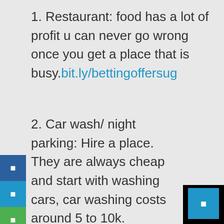1. Restaurant: food has a lot of profit u can never go wrong once you get a place that is busy.bit.ly/bettingoffersug
2. Car wash/ night parking: Hire a place. They are always cheap and start with washing cars, car washing costs around 5 to 10k.